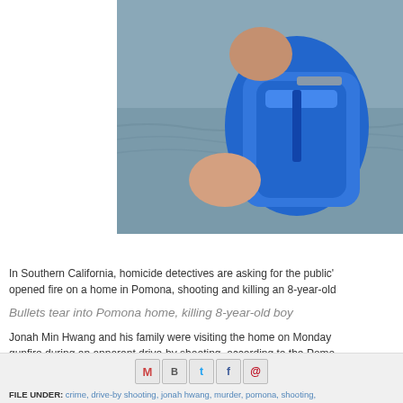[Figure (photo): Partial photo of a child wearing a blue life vest near water]
In Southern California, homicide detectives are asking for the public's help to find the person who opened fire on a home in Pomona, shooting and killing an 8-year-old
Bullets tear into Pomona home, killing 8-year-old boy
Jonah Min Hwang and his family were visiting the home on Monday when they were caught in the gunfire during an apparent drive-by shooting, according to the Pomo
They were sitting down to dinner, around 6:36pm, when someone pu shots into the residence. One of the bullets hit Jonah in the head. He
Read more »
FILE UNDER: crime, drive-by shooting, jonah hwang, murder, pomona, shooting,